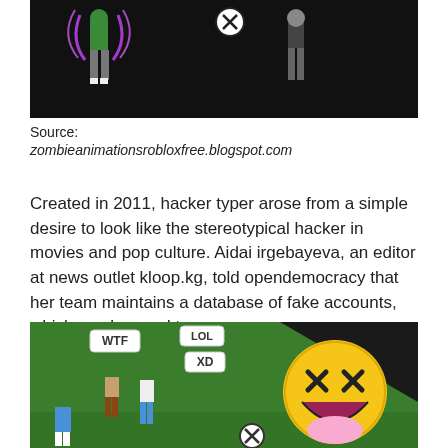[Figure (screenshot): Screenshot of Roblox game characters with black background, showing animated figures with purple energy effects and a circled X icon]
Source:
zombieanimationsrobloxfree.blogspot.com
Created in 2011, hacker typer arose from a simple desire to look like the stereotypical hacker in movies and pop culture. Aidai irgebayeva, an editor at news outlet kloop.kg, told opendemocracy that her team maintains a database of fake accounts, which can be used to.
[Figure (screenshot): Screenshot of a Roblox game showing characters on a green field with chat bubbles saying WTF, LOL, XD, and a large laughing emoji face, plus a circled X icon]